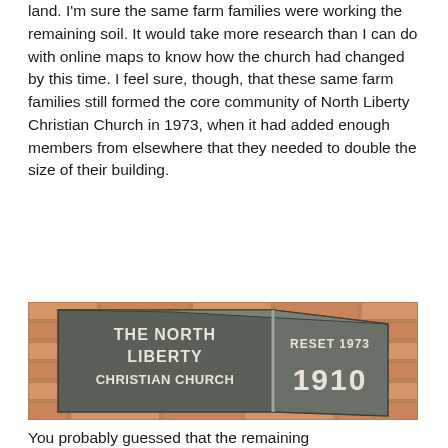land. I'm sure the same farm families were working the remaining soil. It would take more research than I can do with online maps to know how the church had changed by this time. I feel sure, though, that these same farm families still formed the core community of North Liberty Christian Church in 1973, when it had added enough members from elsewhere that they needed to double the size of their building.
[Figure (photo): A granite cornerstone of The North Liberty Christian Church, showing 'THE NORTH LIBERTY CHRISTIAN CHURCH' on the front face and 'RESET 1973 / 1910' on the right face. The stone is set into a brick wall.]
You probably guessed that the remaining farm would be at or near the next this...